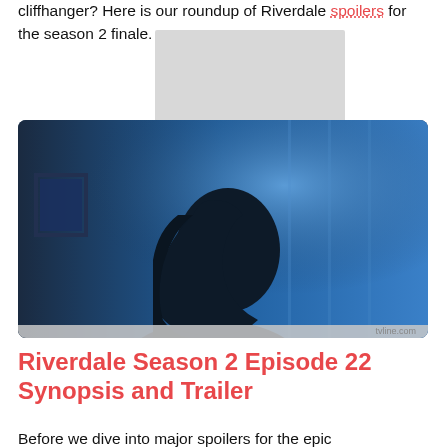cliffhanger? Here is our roundup of Riverdale spoilers for the season 2 finale.
[Figure (photo): A silhouetted woman with long hair looking upward, photographed against a blue-lit background. Image credit: tvline.com]
Riverdale Season 2 Episode 22 Synopsis and Trailer
Before we dive into major spoilers for the epic